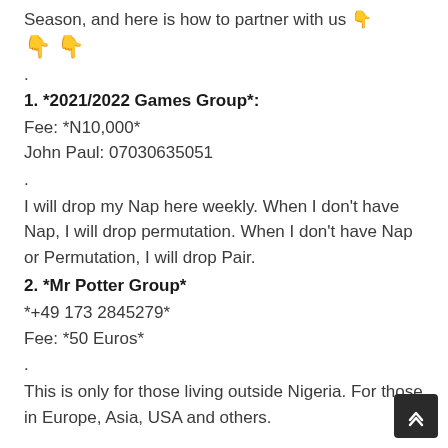Season, and here is how to partner with us 👇👇 👇
.
1. *2021/2022 Games Group*:
Fee: *N10,000*
John Paul: 07030635051
.
I will drop my Nap here weekly. When I don't have Nap, I will drop permutation. When I don't have Nap or Permutation, I will drop Pair.
2. *Mr Potter Group*
*+49 173 2845279*
Fee: *50 Euros*
.
This is only for those living outside Nigeria. For those in Europe, Asia, USA and others.